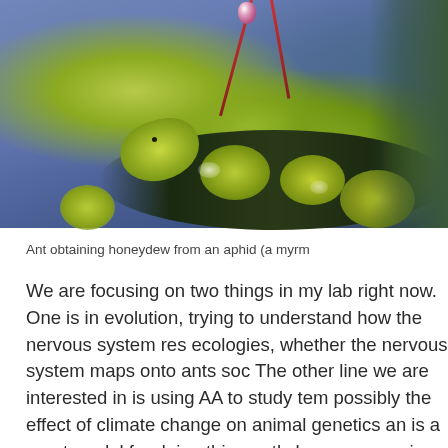[Figure (photo): Close-up macro photograph of an ant obtaining honeydew from green aphids on a plant stem, against a blue-purple background. The aphids appear as round green blobs, and a red droplet (honeydew) is visible at the top.]
Ant obtaining honeydew from an aphid (a myrm
We are focusing on two things in my lab right now. One is in evolution, trying to understand how the nervous system res ecologies, whether the nervous system maps onto ants soc The other line we are interested in is using AA to study tem possibly the effect of climate change on animal genetics an is a great model for doing this, partly because species of AA very wide elevation ranges: the same species are being exp temperatures in the lowlands and very cold temperature i